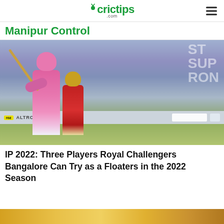crictips .com
Manipur Control
[Figure (photo): Cricket match photo showing a batsman in pink Rajasthan Royals kit playing a shot with a wicketkeeper in red RCB kit behind, stadium crowd visible in background with purple banners, yellow Tata Altroz advertisement on boundary boards]
IP 2022: Three Players Royal Challengers Bangalore Can Try as a Floaters in the 2022 Season